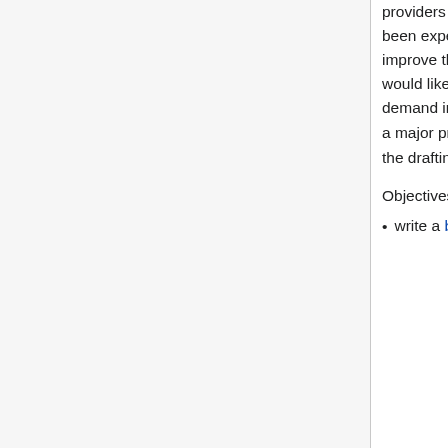providers comprised of individual resource centres. Many of these resource centres have been experimenting with the deployment of virtualised management environments to improve the local delivery of services. Many of EGI's current and new user communities would like to access the flexibility provided by virtualisation across the infrastructure on demand in a 'cloud like' environment. Federating these individual virtualised resources is a major priority for EGI that has started with the EGI User Virtualisation Workshop, and the drafting of the EGI Cloud Integration Profile.
Objectives:
write a blueprint document for EGI Resource Providers that wish to